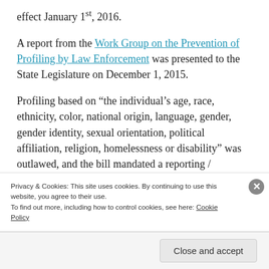effect January 1st, 2016.
A report from the Work Group on the Prevention of Profiling by Law Enforcement was presented to the State Legislature on December 1, 2015.
Profiling based on “the individual’s age, race, ethnicity, color, national origin, language, gender, gender identity, sexual orientation, political affiliation, religion, homelessness or disability” was outlawed, and the bill mandated a reporting / complaint system and tracking of police stops for
Privacy & Cookies: This site uses cookies. By continuing to use this website, you agree to their use.
To find out more, including how to control cookies, see here: Cookie Policy
Close and accept